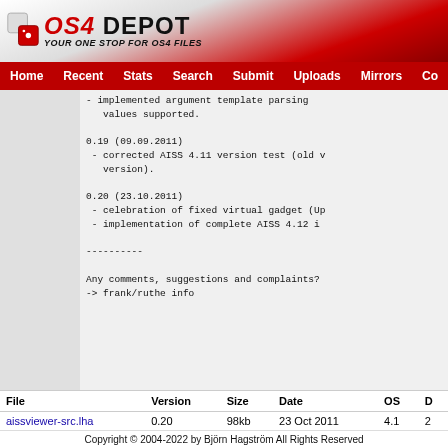OS4 DEPOT - YOUR ONE STOP FOR OS4 FILES
Home | Recent | Stats | Search | Submit | Uploads | Mirrors | Co...
- implemented argument template parsing
   values supported.

0.19 (09.09.2011)
 - corrected AISS 4.11 version test (old v
   version).

0.20 (23.10.2011)
 - celebration of fixed virtual gadget (Up
 - implementation of complete AISS 4.12 i

----------

Any comments, suggestions and complaints?
-> frank/ruthe info
| File | Version | Size | Date | OS | D |
| --- | --- | --- | --- | --- | --- |
| aissviewer-src.lha | 0.20 | 98kb | 23 Oct 2011 | 4.1 | 2 |
Copyright © 2004-2022 by Björn Hagström All Rights Reserved